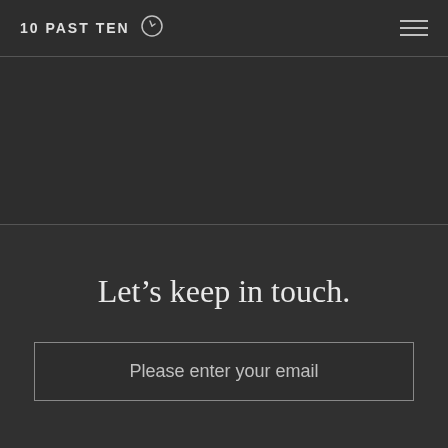10 PAST TEN
Let's keep in touch.
Please enter your email